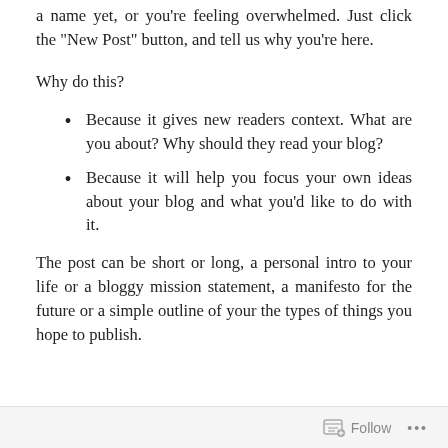a name yet, or you’re feeling overwhelmed. Just click the “New Post” button, and tell us why you’re here.
Why do this?
Because it gives new readers context. What are you about? Why should they read your blog?
Because it will help you focus your own ideas about your blog and what you’d like to do with it.
The post can be short or long, a personal intro to your life or a bloggy mission statement, a manifesto for the future or a simple outline of your the types of things you hope to publish.
Follow ...